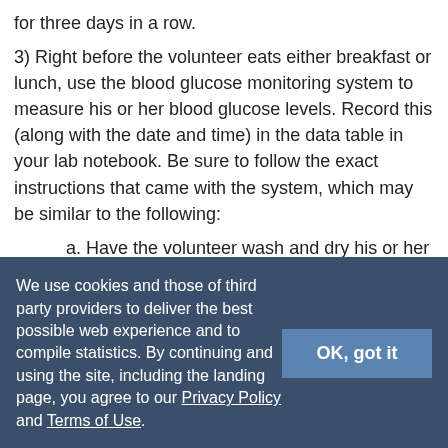for three days in a row.
3) Right before the volunteer eats either breakfast or lunch, use the blood glucose monitoring system to measure his or her blood glucose levels. Record this (along with the date and time) in the data table in your lab notebook. Be sure to follow the exact instructions that came with the system, which may be similar to the following:
a. Have the volunteer wash and dry his or her hands.
b. Insert a test strip into the meter.
c. Use the lancet to get a drop of blood from the volunteer's finger. Be sure to use a new, clean lancet each time a blood sample is taken.
We use cookies and those of third party providers to deliver the best possible web experience and to compile statistics. By continuing and using the site, including the landing page, you agree to our Privacy Policy and Terms of Use.